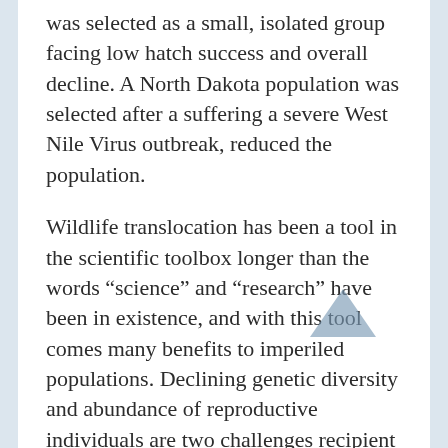was selected as a small, isolated group facing low hatch success and overall decline. A North Dakota population was selected after a suffering a severe West Nile Virus outbreak, reduced the population.
Wildlife translocation has been a tool in the scientific toolbox longer than the words “science” and “research” have been in existence, and with this tool comes many benefits to imperiled populations. Declining genetic diversity and abundance of reproductive individuals are two challenges recipient populations typically face that may be overcome by translocation. Precisely what Meyerpeter et al. had in mind, coupled with estimating the population-level effects of introducing new individuals to the imperiled populations, and removing individuals from